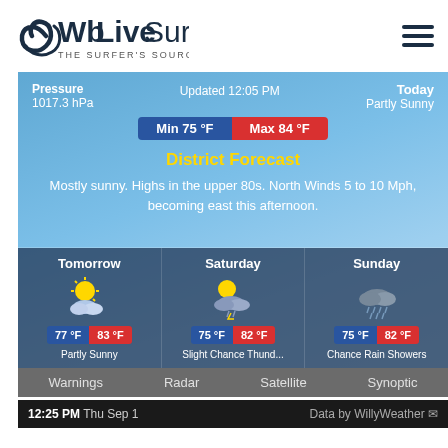[Figure (logo): WbLiveSurf logo with wave icon and text 'THE SURFER'S SOURCE']
Updated 12:05 PM
Pressure
1017.3 hPa
Today
Partly Sunny
Min 75 °F  Max 84 °F
District Forecast
Mostly sunny. Highs in the upper 80s. North Winds 5 to 10 Mph, becoming east this afternoon.
| Tomorrow | Saturday | Sunday |
| --- | --- | --- |
| [partly sunny icon] | [partly cloudy thunder icon] | [rain showers icon] |
| 77 °F / 83 °F | 75 °F / 82 °F | 75 °F / 82 °F |
| Partly Sunny | Slight Chance Thund... | Chance Rain Showers |
Warnings  Radar  Satellite  Synoptic
12:25 PM Thu Sep 1   Data by WillyWeather